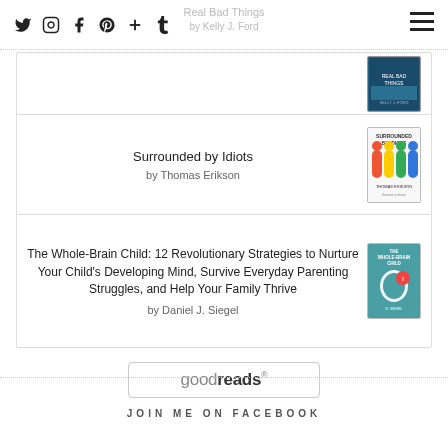Social icons: Twitter, Instagram, Facebook, Pinterest, Plus, Tumblr | Real Bad Things by Kelly J. Ford
[Figure (illustration): Book cover thumbnail for 'Real Bad Things' by Kelly J. Ford — partially visible, dark teal/blue cover]
Surrounded by Idiots
by Thomas Erikson
[Figure (illustration): Book cover thumbnail for 'Surrounded by Idiots' by Thomas Erikson — white cover with colored human figures]
The Whole-Brain Child: 12 Revolutionary Strategies to Nurture Your Child's Developing Mind, Survive Everyday Parenting Struggles, and Help Your Family Thrive
by Daniel J. Siegel
[Figure (illustration): Book cover thumbnail for 'The Whole-Brain Child' — teal cover with head silhouette illustration]
[Figure (logo): Goodreads logo button — rounded rectangle with 'goodreads' text]
JOIN ME ON FACEBOOK